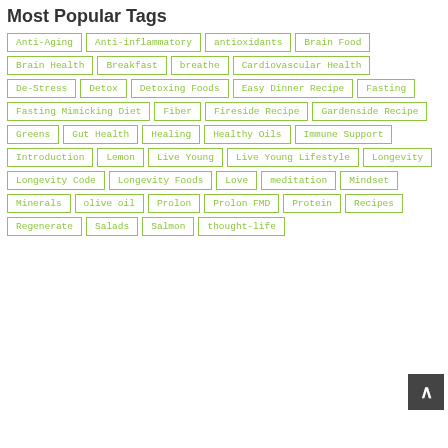Most Popular Tags
Anti-Aging
Anti-inflammatory
antioxidants
Brain Food
Brain Health
Breakfast
breathe
Cardiovascular Health
De-Stress
Detox
Detoxing Foods
Easy Dinner Recipe
Fasting
Fasting Mimicking Diet
Fiber
Fireside Recipe
Gardenside Recipe
Greens
Gut Health
Healing
Healthy Oils
Immune Support
Introduction
Lemon
Live Young
Live Young Lifestyle
Longevity
Longevity Code
Longevity Foods
Love
meditation
Mindset
Minerals
olive oil
Prolon
Prolon FMD
Protein
Recipes
Regenerate
Salads
Salmon
thought-life